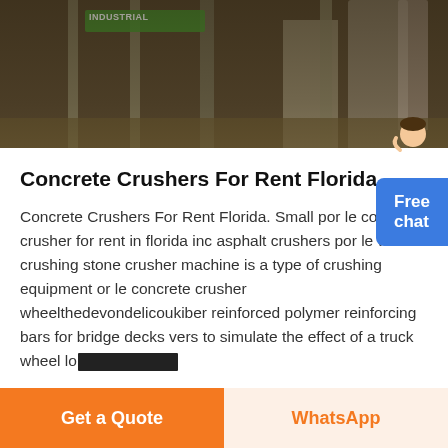[Figure (photo): Industrial construction site with large silos, metal framework pillars, and industrial machinery in the background. Dark toned photo of a concrete crushing or construction facility.]
Concrete Crushers For Rent Florida
Concrete Crushers For Rent Florida. Small por le concrete crusher for rent in florida inc asphalt crushers por le wheel crushing stone crusher machine is a type of crushing equipment or le concrete crusher wheelthedevondelicoukiber reinforced polymer reinforcing bars for bridge decks vers to simulate the effect of a truck wheel lo[redacted]